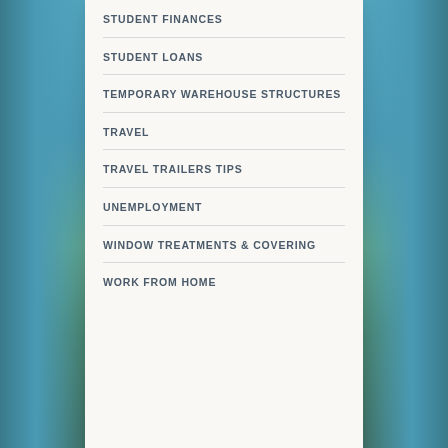STUDENT FINANCES
STUDENT LOANS
TEMPORARY WAREHOUSE STRUCTURES
TRAVEL
TRAVEL TRAILERS TIPS
UNEMPLOYMENT
WINDOW TREATMENTS & COVERING
WORK FROM HOME